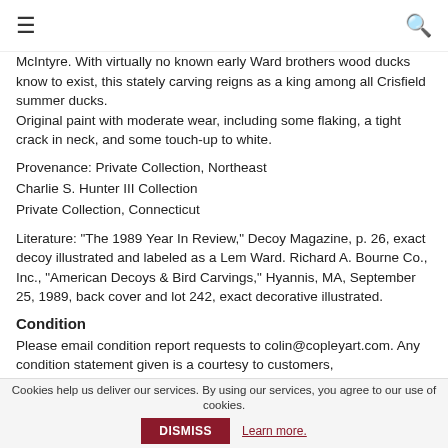☰ 🔍
McIntyre. With virtually no known early Ward brothers wood ducks know to exist, this stately carving reigns as a king among all Crisfield summer ducks.
Original paint with moderate wear, including some flaking, a tight crack in neck, and some touch-up to white.
Provenance: Private Collection, Northeast
Charlie S. Hunter III Collection
Private Collection, Connecticut
Literature: "The 1989 Year In Review," Decoy Magazine, p. 26, exact decoy illustrated and labeled as a Lem Ward. Richard A. Bourne Co., Inc., "American Decoys & Bird Carvings," Hyannis, MA, September 25, 1989, back cover and lot 242, exact decorative illustrated.
Condition
Please email condition report requests to colin@copleyart.com. Any condition statement given is a courtesy to customers,
Cookies help us deliver our services. By using our services, you agree to our use of cookies. DISMISS Learn more.